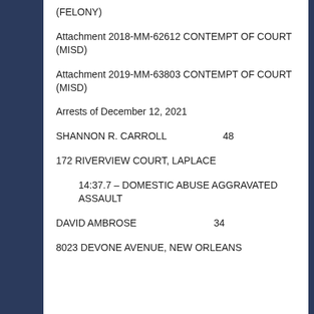(FELONY)
Attachment 2018-MM-62612 CONTEMPT OF COURT (MISD)
Attachment 2019-MM-63803 CONTEMPT OF COURT (MISD)
Arrests of December 12, 2021
SHANNON R. CARROLL    48
172 RIVERVIEW COURT, LAPLACE
14:37.7 – DOMESTIC ABUSE AGGRAVATED ASSAULT
DAVID AMBROSE    34
8023 DEVONE AVENUE, NEW ORLEANS